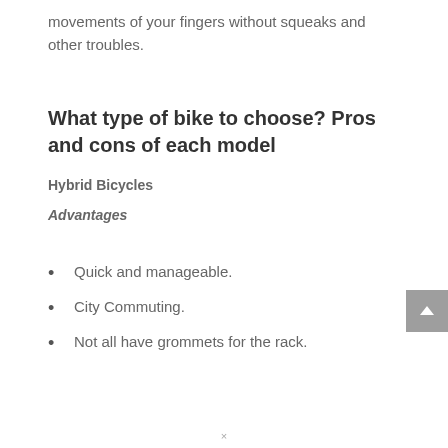movements of your fingers without squeaks and other troubles.
What type of bike to choose? Pros and cons of each model
Hybrid Bicycles
Advantages
Quick and manageable.
City Commuting.
Not all have grommets for the rack.